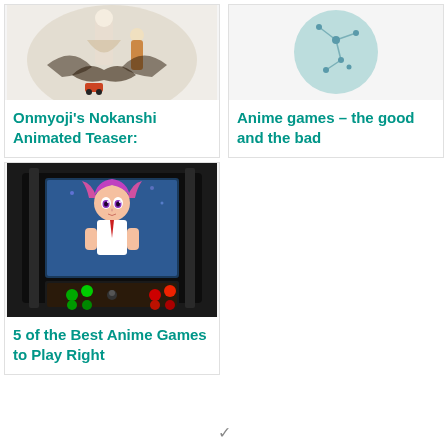[Figure (illustration): Onmyoji anime-style characters with dark fantasy art]
Onmyoji's Nokanshi Animated Teaser:
[Figure (illustration): Anime games circular logo/icon on teal/blue background]
Anime games – the good and the bad
[Figure (photo): Arcade cabinet with anime girl character on screen, colorful buttons visible]
5 of the Best Anime Games to Play Right